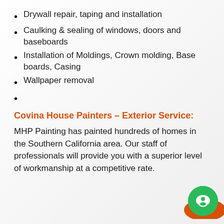Drywall repair, taping and installation
Caulking & sealing of windows, doors and baseboards
Installation of Moldings, Crown molding, Base boards, Casing
Wallpaper removal
Covina House Painters – Exterior Service:
MHP Painting has painted hundreds of homes in the Southern California area. Our staff of professionals will provide you with a superior level of workmanship at a competitive rate.
[Figure (illustration): Chat widget with orange ellipse background and green circle containing a white chat bubble icon]